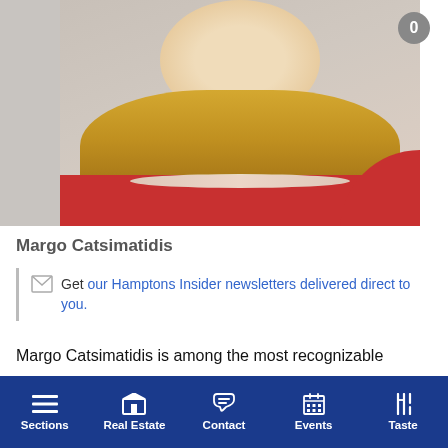[Figure (photo): Photo of Margo Catsimatidis, a woman with blonde hair wearing a red outfit and a pearl necklace, shown from the shoulders up, smiling.]
Margo Catsimatidis
Get our Hamptons Insider newsletters delivered direct to you.
Margo Catsimatidis is among the most recognizable women in the New York City and East End power landscape. A ballerina-turned-business and philanthropy leader, Catsimatidis has cemented a legacy of influence that is known among many of our region's most powerful, and
Sections | Real Estate | Contact | Events | Taste